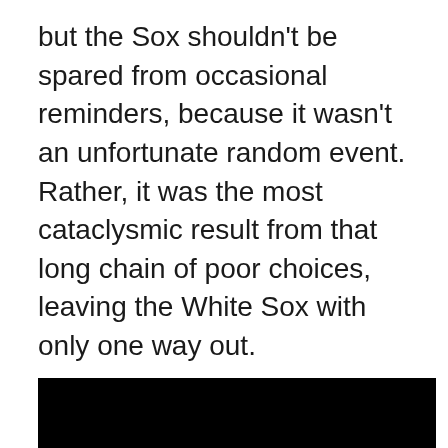but the Sox shouldn't be spared from occasional reminders, because it wasn't an unfortunate random event. Rather, it was the most cataclysmic result from that long chain of poor choices, leaving the White Sox with only one way out.
[Figure (photo): A large black rectangular image, likely a photo that is very dark or blacked out, taking up the lower portion of the page.]